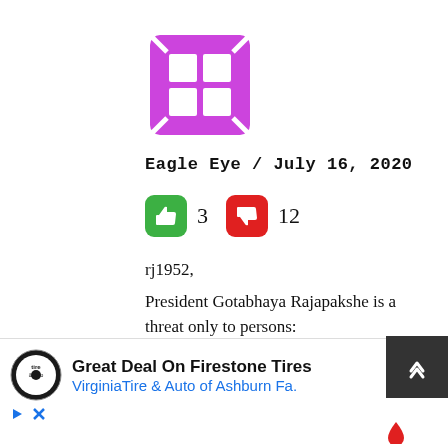[Figure (logo): Purple/magenta square logo with white grid and arrows pointing outward in four diagonal directions]
Eagle Eye / July 16, 2020
[Figure (infographic): Green thumbs-up button with count 3, and red thumbs-down button with count 12]
rj1952,
President Gotabhaya Rajapakshe is a threat only to persons:
• Involved in drug business;
• Members of the underground mafia involved in illegal activities;
[Figure (infographic): Advertisement banner: Firestone tire logo, 'Great Deal On Firestone Tires', 'Virginia Tire & Auto of Ashburn Fa.', blue navigation arrow icon, dark scroll-up button, play/close icons at bottom]